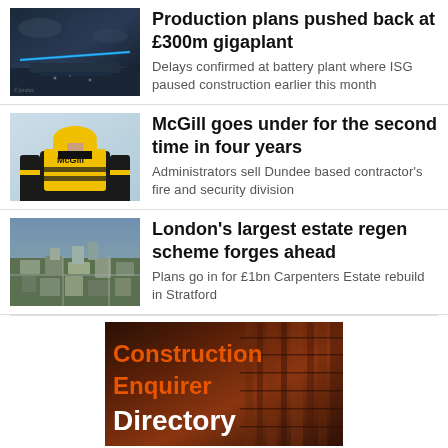[Figure (photo): Aerial landscape photo with blue light streak, gigaplant construction site]
Production plans pushed back at £300m gigaplant
Delays confirmed at battery plant where ISG paused construction earlier this month
[Figure (photo): Worker in yellow McGill high-vis jacket viewed from behind]
McGill goes under for the second time in four years
Administrators sell Dundee based contractor's fire and security division
[Figure (photo): Aerial view of London urban regeneration estate in Stratford]
London's largest estate regen scheme forges ahead
Plans go in for £1bn Carpenters Estate rebuild in Stratford
[Figure (photo): Construction Enquirer Directory advertisement banner with orange text on dark background]